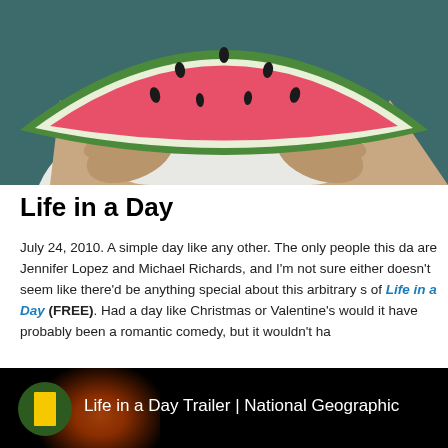[Figure (photo): Person holding a large watermelon slice up to their face, obscuring it. The person wears a white tank top. Background is dark teal/green. Focus is on the pink/red flesh of the watermelon.]
Life in a Day
July 24, 2010. A simple day like any other. The only people this day are Jennifer Lopez and Michael Richards, and I'm not sure either doesn't seem like there'd be anything special about this arbitrary s of Life in a Day (FREE). Had a day like Christmas or Valentine's would it have probably been a romantic comedy, but it wouldn't ha
[Figure (screenshot): Video thumbnail showing 'Life in a Day Trailer | National Geographic' with the National Geographic yellow rectangle logo on a dark/black background with a glowing orange-red orb effect.]